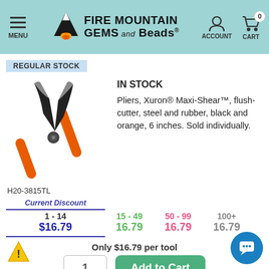Fire Mountain Gems and Beads - MENU / ACCOUNT / CART
REGULAR STOCK
IN STOCK
[Figure (photo): Orange and black Xuron Maxi-Shear flush-cutter pliers, 6 inches]
Pliers, Xuron® Maxi-Shear™, flush-cutter, steel and rubber, black and orange, 6 inches. Sold individually.
H20-3815TL
| Current Discount | 15 - 49 | 50 - 99 | 100+ |
| --- | --- | --- | --- |
| 1 - 14 | 15 - 49 | 50 - 99 | 100+ |
| $16.79 | 16.79 | 16.79 | 16.79 |
Only $16.79 per tool
1  Add to Cart